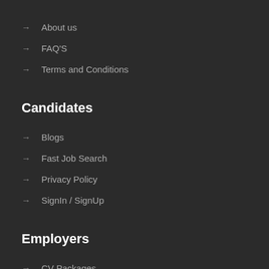→ About us
→ FAQ'S
→ Terms and Conditions
Candidates
→ Blogs
→ Fast Job Search
→ Privacy Policy
→ SignIn / SignUp
Employers
→ CV Packages
→ Job Packages